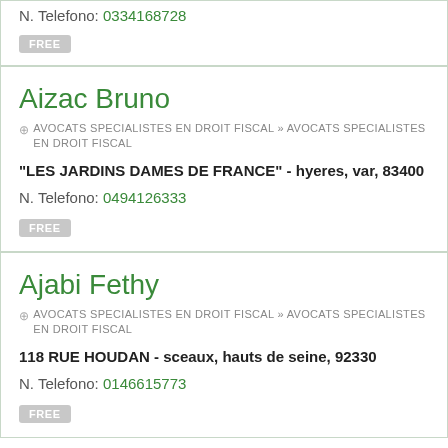N. Telefono: 0334168728
FREE
Aizac Bruno
AVOCATS SPECIALISTES EN DROIT FISCAL » AVOCATS SPECIALISTES EN DROIT FISCAL
"LES JARDINS DAMES DE FRANCE" - hyeres, var, 83400
N. Telefono: 0494126333
FREE
Ajabi Fethy
AVOCATS SPECIALISTES EN DROIT FISCAL » AVOCATS SPECIALISTES EN DROIT FISCAL
118 RUE HOUDAN - sceaux, hauts de seine, 92330
N. Telefono: 0146615773
FREE